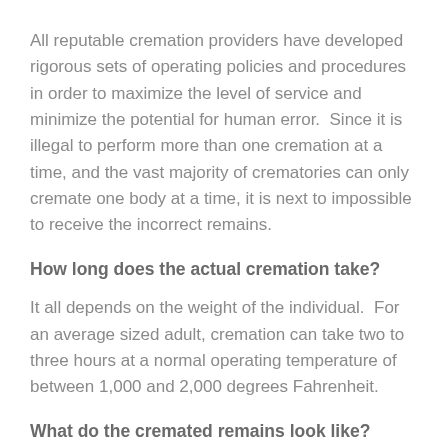All reputable cremation providers have developed rigorous sets of operating policies and procedures in order to maximize the level of service and minimize the potential for human error.  Since it is illegal to perform more than one cremation at a time, and the vast majority of crematories can only cremate one body at a time, it is next to impossible to receive the incorrect remains.
How long does the actual cremation take?
It all depends on the weight of the individual.  For an average sized adult, cremation can take two to three hours at a normal operating temperature of between 1,000 and 2,000 degrees Fahrenheit.
What do the cremated remains look like?